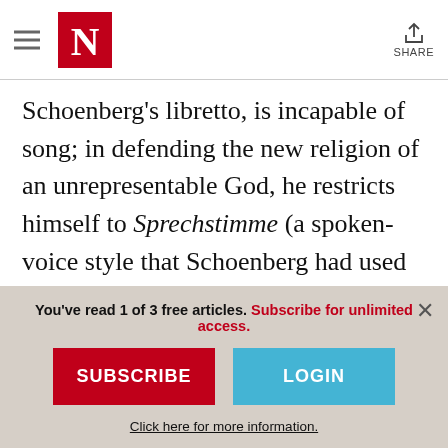The New Yorker — navigation header with hamburger menu, N logo, and Share button
Schoenberg's libretto, is incapable of song; in defending the new religion of an unrepresentable God, he restricts himself to Sprechstimme (a spoken-voice style that Schoenberg had used before in Pierrot Lunaire), lest the sensuous beauty of the human voice transgress the laws of antisensuous monotheism. But Moses fails to
You've read 1 of 3 free articles. Subscribe for unlimited access.
SUBSCRIBE
LOGIN
Click here for more information.